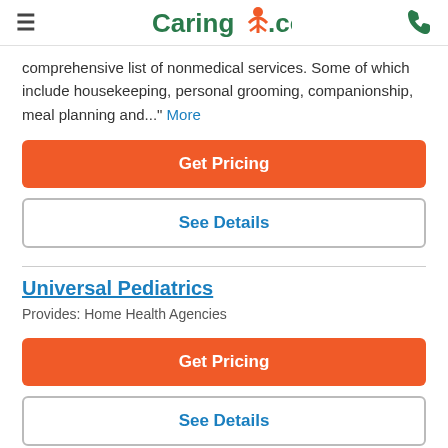Caring.com
comprehensive list of nonmedical services. Some of which include housekeeping, personal grooming, companionship, meal planning and..." More
Get Pricing
See Details
Universal Pediatrics
Provides: Home Health Agencies
Get Pricing
See Details